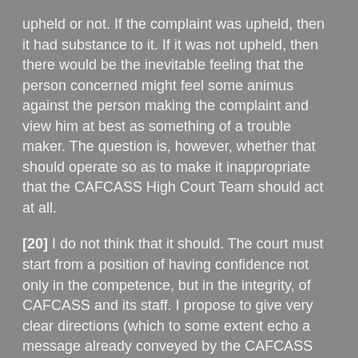upheld or not. If the complaint was upheld, then it had substance to it. If it was not upheld, then there would be the inevitable feeling that the person concerned might feel some animus against the person making the complaint and view him at best as something of a trouble maker. The question is, however, whether that should operate so as to make it inappropriate that the CAFCASS High Court Team should act at all.
[20] I do not think that it should. The court must start from a position of having confidence not only in the competence, but in the integrity, of CAFCASS and its staff. I propose to give very clear directions (which to some extent echo a message already conveyed by the CAFCASS High Court Team) that the allocated guardian shall be identified and supervised by a lady called Lucy Titmuss, whom I am told is the senior supervisor of the whole team, senior both to Miss Vivian and indeed to Mr John Mellor, who used to run the team. I will expressly